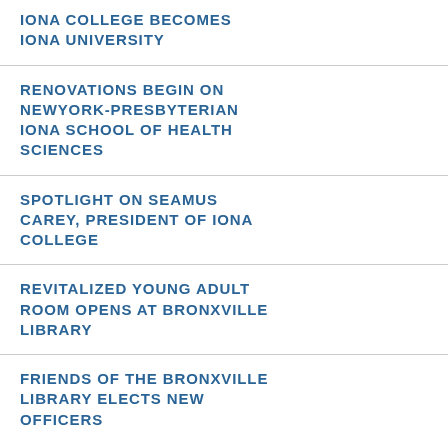IONA COLLEGE BECOMES IONA UNIVERSITY
RENOVATIONS BEGIN ON NEWYORK-PRESBYTERIAN IONA SCHOOL OF HEALTH SCIENCES
SPOTLIGHT ON SEAMUS CAREY, PRESIDENT OF IONA COLLEGE
REVITALIZED YOUNG ADULT ROOM OPENS AT BRONXVILLE LIBRARY
FRIENDS OF THE BRONXVILLE LIBRARY ELECTS NEW OFFICERS